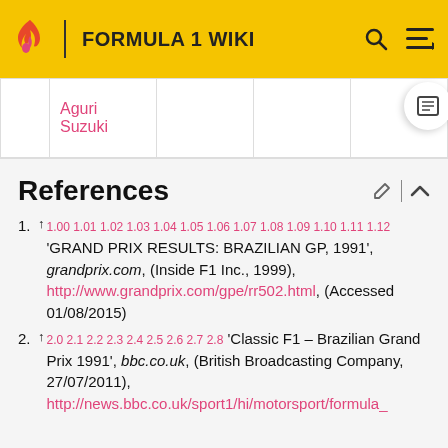FORMULA 1 WIKI
|  | Aguri Suzuki |  |  |  |
References
↑ 1.00 1.01 1.02 1.03 1.04 1.05 1.06 1.07 1.08 1.09 1.10 1.11 1.12 'GRAND PRIX RESULTS: BRAZILIAN GP, 1991', grandprix.com, (Inside F1 Inc., 1999), http://www.grandprix.com/gpe/rr502.html, (Accessed 01/08/2015)
↑ 2.0 2.1 2.2 2.3 2.4 2.5 2.6 2.7 2.8 'Classic F1 – Brazilian Grand Prix 1991', bbc.co.uk, (British Broadcasting Company, 27/07/2011), http://news.bbc.co.uk/sport1/hi/motorsport/formula_